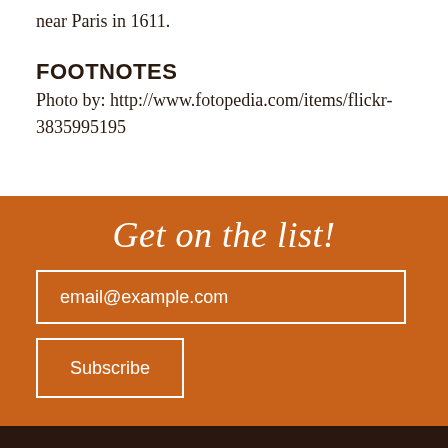near Paris in 1611.
FOOTNOTES
Photo by: http://www.fotopedia.com/items/flickr-3835995195
Get on the list!
email@example.com
Subscribe